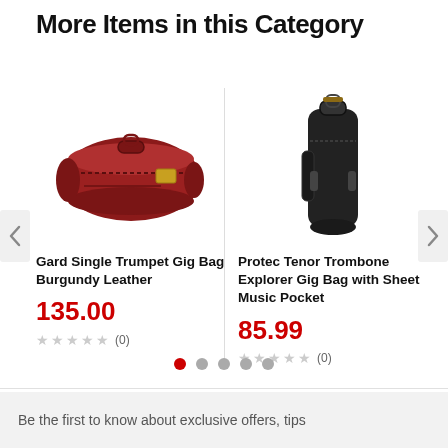More Items in this Category
[Figure (photo): Red/burgundy leather Gard single trumpet gig bag with handle and gold zipper tag]
Gard Single Trumpet Gig Bag Burgundy Leather
135.00
★★★★★ (0)
[Figure (photo): Black Protec tenor trombone explorer gig bag shown vertically with sheet music pocket visible]
Protec Tenor Trombone Explorer Gig Bag with Sheet Music Pocket
85.99
★★★★★ (0)
Be the first to know about exclusive offers, tips